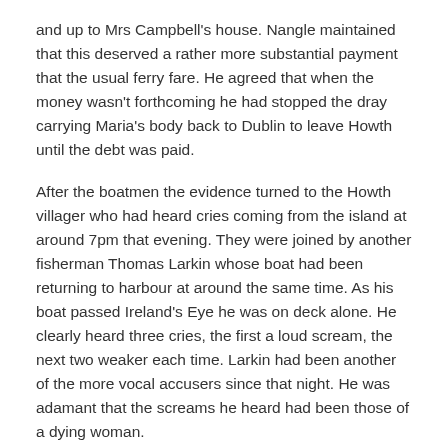and up to Mrs Campbell's house. Nangle maintained that this deserved a rather more substantial payment that the usual ferry fare. He agreed that when the money wasn't forthcoming he had stopped the dray carrying Maria's body back to Dublin to leave Howth until the debt was paid.
After the boatmen the evidence turned to the Howth villager who had heard cries coming from the island at around 7pm that evening. They were joined by another fisherman Thomas Larkin whose boat had been returning to harbour at around the same time. As his boat passed Ireland's Eye he was on deck alone. He clearly heard three cries, the first a loud scream, the next two weaker each time. Larkin had been another of the more vocal accusers since that night. He was adamant that the screams he heard had been those of a dying woman.